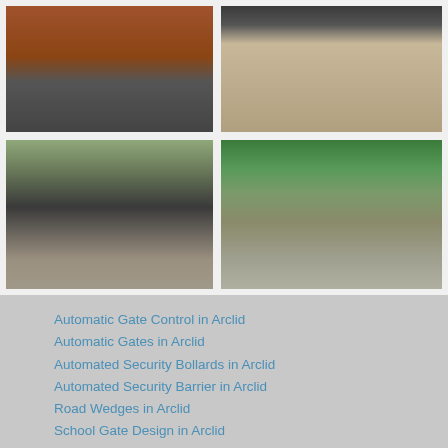[Figure (photo): Top-left: Black iron gate with red brick wall and grey slate paving]
[Figure (photo): Top-right: Cobblestone driveway with black gate partially visible at top]
[Figure (photo): Bottom-left: Automatic black metal double gates open on a gravel driveway with trees in background]
[Figure (photo): Bottom-right: Five-bar metal gate on a country lane with green hedges and trees]
Automatic Gate Control in Arclid
Automatic Gates in Arclid
Automated Security Bollards in Arclid
Automated Security Barrier in Arclid
Road Wedges in Arclid
School Gate Design in Arclid